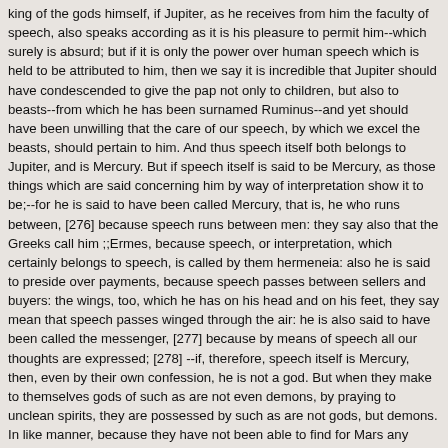king of the gods himself, if Jupiter, as he receives from him the faculty of speech, also speaks according as it is his pleasure to permit him--which surely is absurd; but if it is only the power over human speech which is held to be attributed to him, then we say it is incredible that Jupiter should have condescended to give the pap not only to children, but also to beasts--from which he has been surnamed Ruminus--and yet should have been unwilling that the care of our speech, by which we excel the beasts, should pertain to him. And thus speech itself both belongs to Jupiter, and is Mercury. But if speech itself is said to be Mercury, as those things which are said concerning him by way of interpretation show it to be;--for he is said to have been called Mercury, that is, he who runs between, [276] because speech runs between men: they say also that the Greeks call him ;;Ermes, because speech, or interpretation, which certainly belongs to speech, is called by them hermeneia: also he is said to preside over payments, because speech passes between sellers and buyers: the wings, too, which he has on his head and on his feet, they say mean that speech passes winged through the air: he is also said to have been called the messenger, [277] because by means of speech all our thoughts are expressed; [278] --if, therefore, speech itself is Mercury, then, even by their own confession, he is not a god. But when they make to themselves gods of such as are not even demons, by praying to unclean spirits, they are possessed by such as are not gods, but demons. In like manner, because they have not been able to find for Mars any element or part of the world in which he might perform some works of nature of whatever kind, they have said that he is the god of war, which is a work of men, and that not one which is considered desirable by them. If, therefore, Felicitas